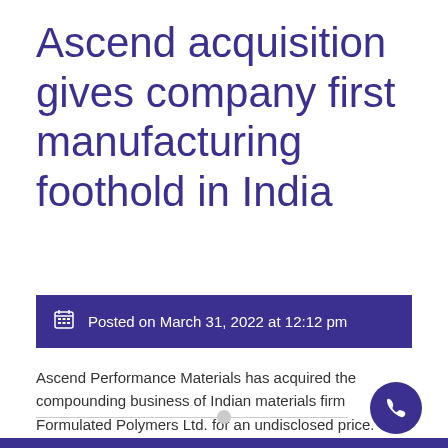Ascend acquisition gives company first manufacturing foothold in India
Posted on March 31, 2022 at 12:12 pm
Ascend Performance Materials has acquired the compounding business of Indian materials firm Formulated Polymers Ltd. for an undisclosed price.